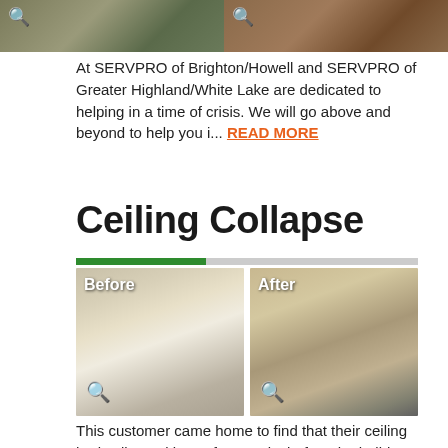[Figure (photo): Two before/after or related damage photos at the top of the page, partially cropped. Left shows debris/rubble, right shows wood flooring.]
At SERVPRO of Brighton/Howell and SERVPRO of Greater Highland/White Lake are dedicated to helping in a time of crisis. We will go above and beyond to help you i... READ MORE
Ceiling Collapse
[Figure (photo): Before and After photos of a ceiling collapse. Before: room with collapsed ceiling debris on furniture. After: clean, restored living room with TV and couches.]
This customer came home to find that their ceiling had collapsed just a few weeks before the holidays. Thankfully, READ